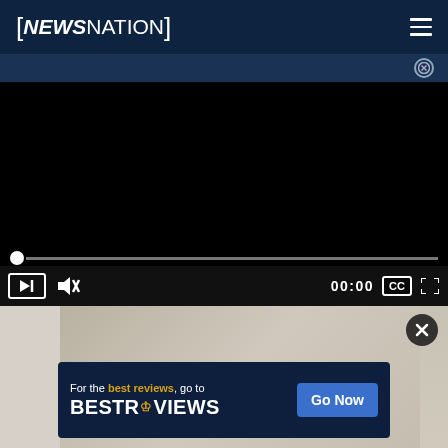[NEWSNATION]
[Figure (screenshot): Video player showing black screen with playback controls: progress bar, play button, mute button, time display 00:00, CC button, and fullscreen button]
[Figure (photo): Partial view of a person wearing a face mask, background partially visible]
[Figure (other): BestReviews advertisement banner: 'For the best reviews, go to BESTREVIEWS' with a 'Go Now' blue button]